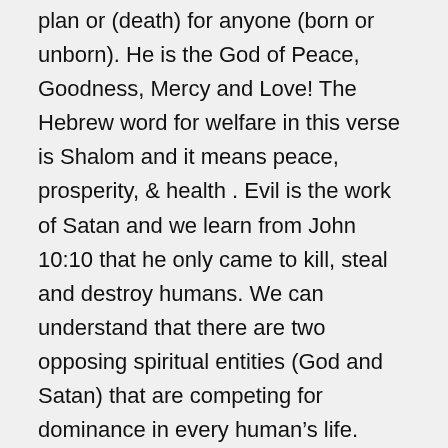plan or (death) for anyone (born or unborn). He is the God of Peace, Goodness, Mercy and Love! The Hebrew word for welfare in this verse is Shalom and it means peace, prosperity, & health . Evil is the work of Satan and we learn from John 10:10 that he only came to kill, steal and destroy humans. We can understand that there are two opposing spiritual entities (God and Satan) that are competing for dominance in every human's life. Some might think this promise in Jeremiah 29:11 does not apply to unborn, but the same writer said this also:

Jer 1:5 “Before I formed you in the womb I knew you; Before you were born I